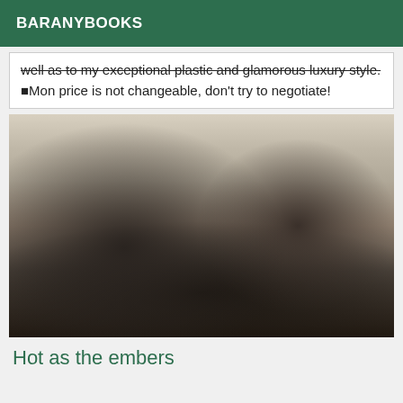BARANYBOOKS
well as to my exceptional plastic and glamorous luxury style. ■Mon price is not changeable, don't try to negotiate!
[Figure (photo): A person posing in black lingerie and fishnet stockings on a bed, photographed from behind with braided hair visible.]
Hot as the embers